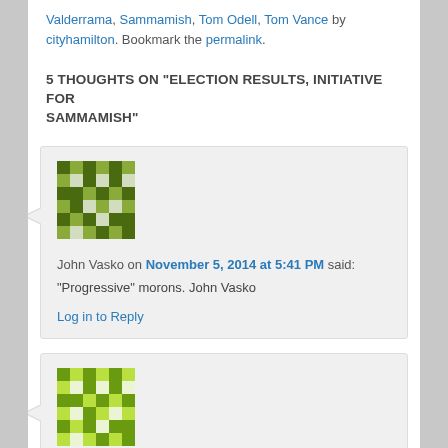Valderrama, Sammamish, Tom Odell, Tom Vance by cityhamilton. Bookmark the permalink.
5 THOUGHTS ON "ELECTION RESULTS, INITIATIVE FOR SAMMAMISH"
John Vasko on November 5, 2014 at 5:41 PM said:
“Progressive” morons. John Vasko
Log in to Reply
[Figure (illustration): Green pixel/mosaic avatar for John Vasko comment]
[Figure (illustration): Green pixel/mosaic avatar for second comment]